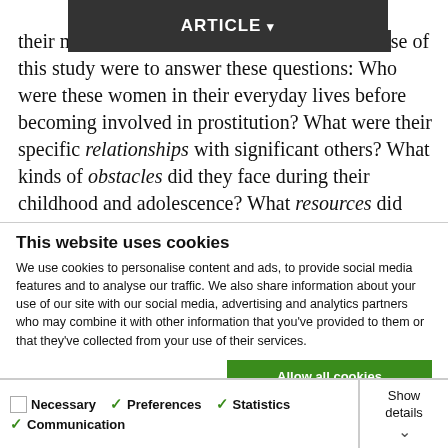Article ▾
their mar... ...of this study were to answer these questions: Who were these women in their everyday lives before becoming involved in prostitution? What were their specific relationships with significant others? What kinds of obstacles did they face during their childhood and adolescence? What resources did
This website uses cookies
We use cookies to personalise content and ads, to provide social media features and to analyse our traffic. We also share information about your use of our site with our social media, advertising and analytics partners who may combine it with other information that you've provided to them or that they've collected from your use of their services.
Allow all cookies
Allow selection
Use necessary cookies only
Necessary  Preferences  Statistics  Communication  Show details